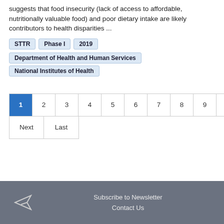suggests that food insecurity (lack of access to affordable, nutritionally valuable food) and poor dietary intake are likely contributors to health disparities ...
STTR
Phase I
2019
Department of Health and Human Services
National Institutes of Health
Pagination: 1 2 3 4 5 6 7 8 9 ... Next Last
Subscribe to Newsletter | Contact Us